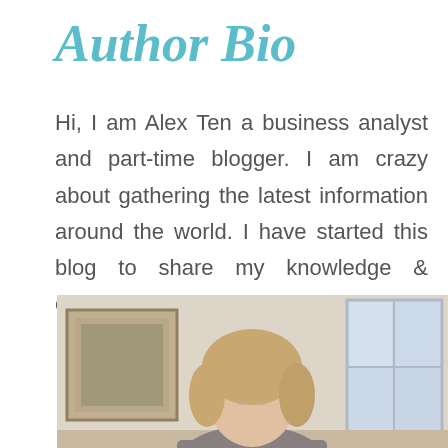Author Bio
Hi, I am Alex Ten a business analyst and part-time blogger. I am crazy about gathering the latest information around the world. I have started this blog to share my knowledge & experience.
[Figure (photo): Photo of a woman with blonde hair, shown from the shoulders up, standing in front of a window and picture frame in an interior setting.]